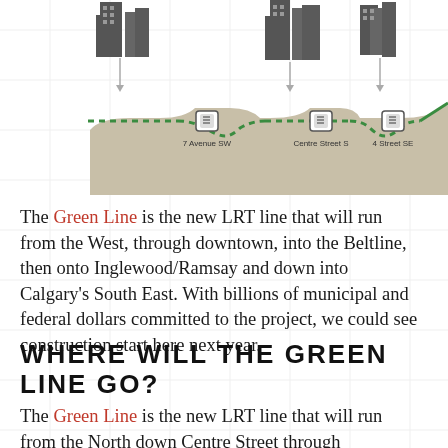[Figure (infographic): Cross-section diagram of the Green Line LRT route showing underground/surface track with dotted green line, three station stops labeled '7 Avenue SW', 'Centre Street S', and '4 Street SE', building silhouettes above ground, and arrows indicating elevation changes.]
The Green Line is the new LRT line that will run from the West, through downtown, into the Beltline, then onto Inglewood/Ramsay and down into Calgary's South East. With billions of municipal and federal dollars committed to the project, we could see construction start here next year.
WHERE WILL THE GREEN LINE GO?
The Green Line is the new LRT line that will run from the North down Centre Street through downtown, and the Beltline, and into